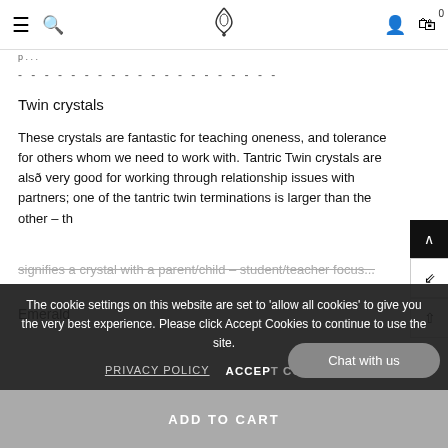Navigation bar with hamburger menu, search, logo, account, and cart (0)
breadcrumb
- - - - - - - - - - - - - - - - - - - - - -
Twin crystals
These crystals are fantastic for teaching oneness, and tolerance for others whom we need to work with. Tantric Twin crystals are also very good for working through relationship issues with partners; one of the tantric twin terminations is larger than the other – th signifies a crystal with a parent/child – student/teacher focus ...
Emerald
The cookie settings on this website are set to 'allow all cookies' to give you the very best experience. Please click Accept Cookies to continue to use the site.
PRIVACY POLICY   ACCEPT COOKIES
Chat with us
ADD TO CART